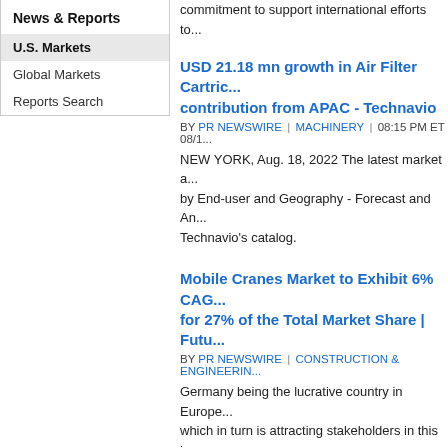commitment to support international efforts to...
News & Reports
U.S. Markets
Global Markets
Reports Search
USD 21.18 mn growth in Air Filter Cartric... contribution from APAC - Technavio
BY PR NEWSWIRE | MACHINERY | 08:15 PM ET 08/1...
NEW YORK, Aug. 18, 2022 The latest market a... by End-user and Geography - Forecast and An... Technavio's catalog.
Mobile Cranes Market to Exhibit 6% CAG... for 27% of the Total Market Share | Futu...
BY PR NEWSWIRE | CONSTRUCTION & ENGINEERIN...
Germany being the lucrative country in Europe... which in turn is attracting stakeholders in this i... analysis brings the readers up to date with the... providing analysis on how manufacturers and c...
Connected Truck Market to Reach $97.3... Market Research
BY PR NEWSWIRE | AUTO COMPONENTS , AUTOMO...
Increase in usage of telematics in the automotio... drive the global connected truck market growth... opportunities Massive use of telematics in the a... propel the growth of the global connected truc...
Autonomous Farm Equipment Market S...